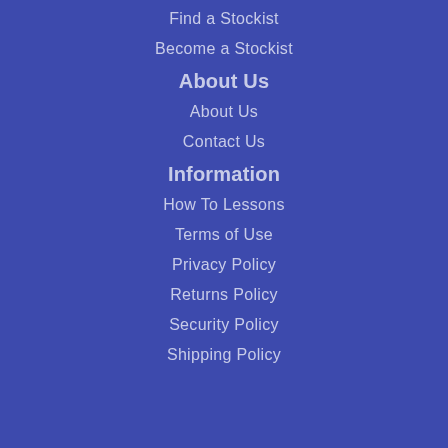Find a Stockist
Become a Stockist
About Us
About Us
Contact Us
Information
How To Lessons
Terms of Use
Privacy Policy
Returns Policy
Security Policy
Shipping Policy